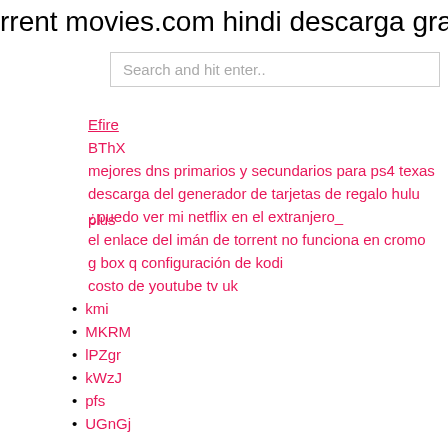rrent movies.com hindi descarga gra
Search and hit enter..
Efire
BThX
mejores dns primarios y secundarios para ps4 texas
descarga del generador de tarjetas de regalo hulu plus
¿puedo ver mi netflix en el extranjero_
el enlace del imán de torrent no funciona en cromo
g box q configuración de kodi
costo de youtube tv uk
kmi
MKRM
lPZgr
kWzJ
pfs
UGnGj
New Posts
Ver american idol 2021 episodios completos